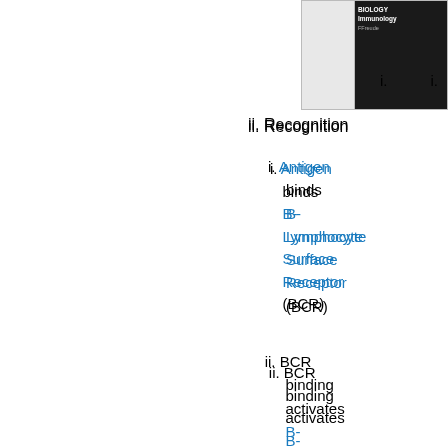[Figure (photo): Two-panel image in top right corner: left panel is a light/white image, right panel is a dark image with text overlay showing immunology-related content]
i. (image item)
ii. Recognition
i. Antigen binds B-Lymphocyte Surface Receptor (BCR)
ii. BCR binding activates B-Lymphocyte
i. T-Cell Independent Antigen (e.g. ine Antigen also activates B-Cell
ii. T-